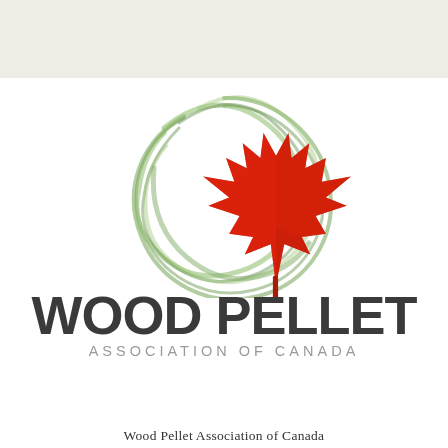[Figure (logo): Wood Pellet Association of Canada logo: a red maple leaf overlaid on a green circular brush-stroke design, with bold dark text 'WOOD PELLET' and subtitle 'ASSOCIATION OF CANADA']
Wood Pellet Association of Canada